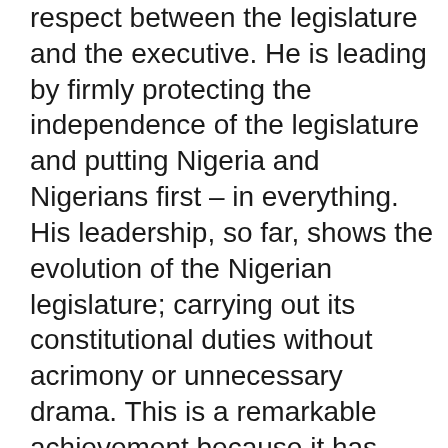respect between the legislature and the executive. He is leading by firmly protecting the independence of the legislature and putting Nigeria and Nigerians first – in everything. His leadership, so far, shows the evolution of the Nigerian legislature; carrying out its constitutional duties without acrimony or unnecessary drama. This is a remarkable achievement because it has brought the stability and the harmony that are key to making governance work for Nigerians.
[Figure (other): Advertisement placeholder box with 'ADVERTISEMENT' label above it]